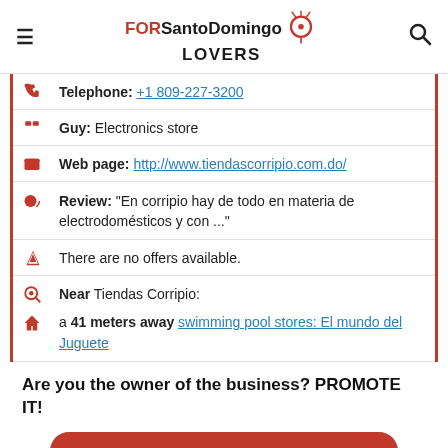FORSantoDomingo LOVERS
Telephone: +1 809-227-3200
Guy: Electronics store
Web page: http://www.tiendascorripio.com.do/
Review: "En corripio hay de todo en materia de electrodomésticos y con ..."
There are no offers available.
Near Tiendas Corripio:
a 41 meters away swimming pool stores: El mundo del Juguete
Are you the owner of the business? PROMOTE IT!